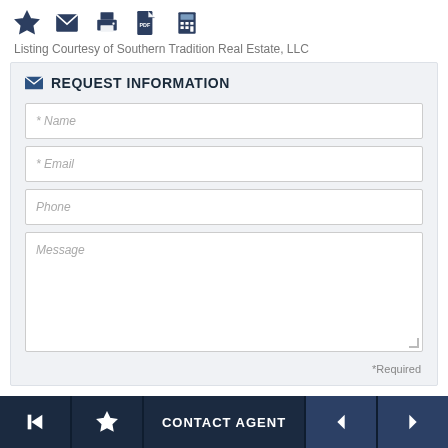[Figure (screenshot): Toolbar icons: star/bookmark, email, print, PDF, calculator]
Listing Courtesy of Southern Tradition Real Estate, LLC
REQUEST INFORMATION
* Name
* Email
Phone
Message
*Required
← ☆ CONTACT AGENT ◄ ►